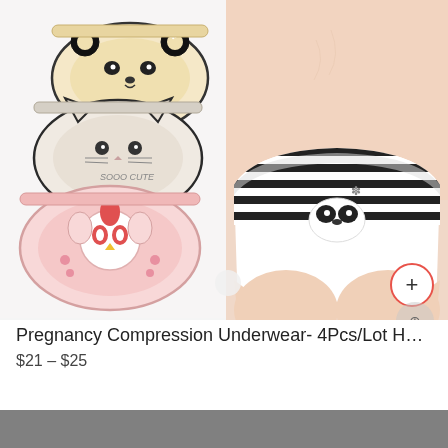[Figure (photo): Product listing image showing two views of pregnancy/maternity underwear. Left side shows a flat lay of three pairs of underwear with cute animal character designs (panda, cat, bird). Right side shows the underwear being worn on a pregnant torso, featuring a black and white panda stripe design. A red-bordered plus button and a gray zoom icon appear at the bottom right of the image.]
Pregnancy Compression Underwear- 4Pcs/Lot Hot Sal...
$21 – $25